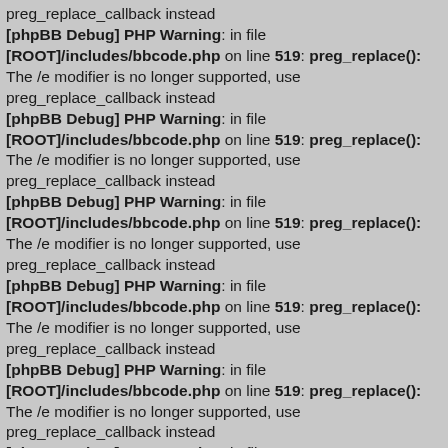preg_replace_callback instead
[phpBB Debug] PHP Warning: in file [ROOT]/includes/bbcode.php on line 519: preg_replace(): The /e modifier is no longer supported, use preg_replace_callback instead
[phpBB Debug] PHP Warning: in file [ROOT]/includes/bbcode.php on line 519: preg_replace(): The /e modifier is no longer supported, use preg_replace_callback instead
[phpBB Debug] PHP Warning: in file [ROOT]/includes/bbcode.php on line 519: preg_replace(): The /e modifier is no longer supported, use preg_replace_callback instead
[phpBB Debug] PHP Warning: in file [ROOT]/includes/bbcode.php on line 519: preg_replace(): The /e modifier is no longer supported, use preg_replace_callback instead
[phpBB Debug] PHP Warning: in file [ROOT]/includes/bbcode.php on line 519: preg_replace(): The /e modifier is no longer supported, use preg_replace_callback instead
[phpBB Debug] PHP Warning: in file [ROOT]/includes/bbcode.php on line 519: preg_replace(): The /e modifier is no longer supported, use The /e modifier is no longer supported, use